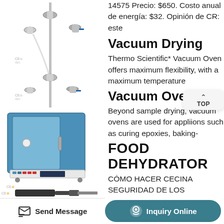[Figure (photo): Laboratory distillation/filtration apparatus with metal fittings, CE ISO marks, connected by tubing, mounted on stand]
[Figure (photo): Blue and white vacuum oven/furnace with digital control panel, on wheels, CE marked]
[Figure (photo): Vacuum pump, dark grey/black, CE marked]
14575 Precio: $650. Costo anual de energía: $32. Opinión de CR: este
Vacuum Drying
Thermo Scientific* Vacuum Oven offers maximum flexibility, with a maximum temperature
Vacuum Oven B
Beyond sample drying, vacuum ovens are used for appliions such as curing epoxies, baking-
FOOD DEHYDRATOR
CÓMO HACER CECINA SEGURIDAD DE LOS
Send Message
Inquiry Online